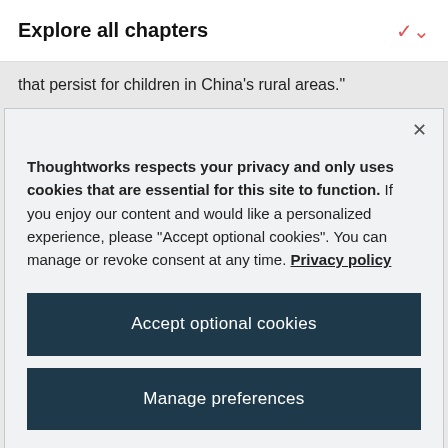Explore all chapters
that persist for children in China's rural areas."
Thoughtworks respects your privacy and only uses cookies that are essential for this site to function. If you enjoy our content and would like a personalized experience, please “Accept optional cookies”. You can manage or revoke consent at any time. Privacy policy
Accept optional cookies
Manage preferences